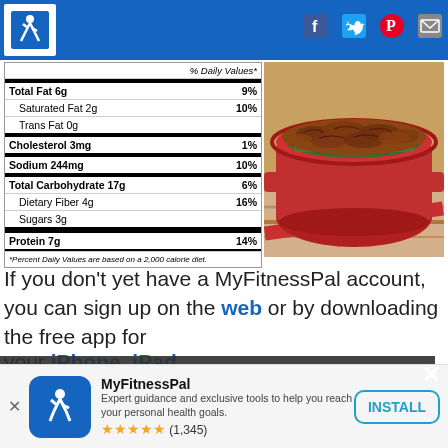[Figure (logo): MyFitnessPal logo - white figure on blue background, header bar with social icons]
|  | % Daily Values* |  |
| --- | --- | --- |
| Total Fat 6g |  | 9% |
| Saturated Fat 2g |  | 10% |
| Trans Fat 0g |  |  |
| Cholesterol 3mg |  | 1% |
| Sodium 244mg |  | 10% |
| Total Carbohydrate 17g |  | 6% |
| Dietary Fiber 4g |  | 16% |
| Sugars 3g |  |  |
| Protein 7g |  | 14% |
*Percent Daily Values are based on a 2,000 calorie diet.
[Figure (photo): Red ceramic dish filled with green bean casserole topped with crispy fried onions]
If you don’t yet have a MyFitnessPal account, you can sign up on the web or by downloading the free app for your iPhone, iPad, Android or Windows mobile device.
You’re taking control of your
MyFitnessPal
Expert guidance and exclusive tools to help you reach your personal health goals.
★★★★★ (1,345)